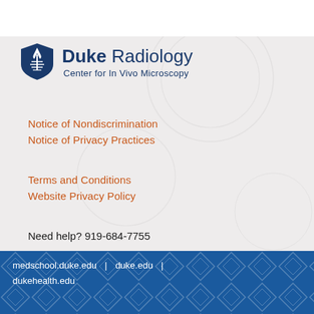[Figure (logo): Duke Radiology logo with blue shield/torch icon and text 'Duke Radiology, Center for In Vivo Microscopy']
Notice of Nondiscrimination
Notice of Privacy Practices
Terms and Conditions
Website Privacy Policy
Need help? 919-684-7755
medschool.duke.edu | duke.edu | dukehealth.edu